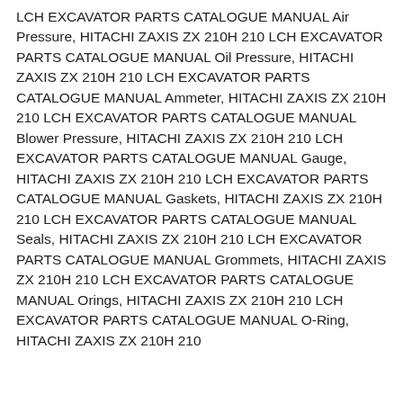LCH EXCAVATOR PARTS CATALOGUE MANUAL Air Pressure, HITACHI ZAXIS ZX 210H 210 LCH EXCAVATOR PARTS CATALOGUE MANUAL Oil Pressure, HITACHI ZAXIS ZX 210H 210 LCH EXCAVATOR PARTS CATALOGUE MANUAL Ammeter, HITACHI ZAXIS ZX 210H 210 LCH EXCAVATOR PARTS CATALOGUE MANUAL Blower Pressure, HITACHI ZAXIS ZX 210H 210 LCH EXCAVATOR PARTS CATALOGUE MANUAL Gauge, HITACHI ZAXIS ZX 210H 210 LCH EXCAVATOR PARTS CATALOGUE MANUAL Gaskets, HITACHI ZAXIS ZX 210H 210 LCH EXCAVATOR PARTS CATALOGUE MANUAL Seals, HITACHI ZAXIS ZX 210H 210 LCH EXCAVATOR PARTS CATALOGUE MANUAL Grommets, HITACHI ZAXIS ZX 210H 210 LCH EXCAVATOR PARTS CATALOGUE MANUAL Orings, HITACHI ZAXIS ZX 210H 210 LCH EXCAVATOR PARTS CATALOGUE MANUAL O-Ring, HITACHI ZAXIS ZX 210H 210